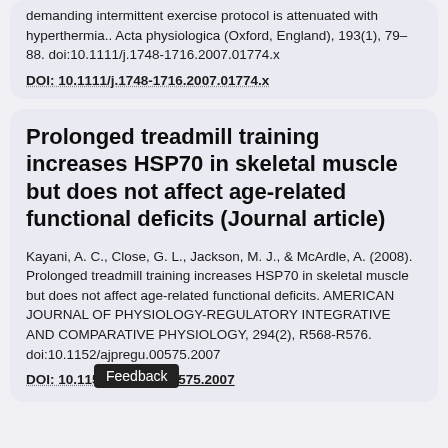demanding intermittent exercise protocol is attenuated with hyperthermia.. Acta physiologica (Oxford, England), 193(1), 79–88. doi:10.1111/j.1748-1716.2007.01774.x
DOI: 10.1111/j.1748-1716.2007.01774.x
Prolonged treadmill training increases HSP70 in skeletal muscle but does not affect age-related functional deficits (Journal article)
Kayani, A. C., Close, G. L., Jackson, M. J., & McArdle, A. (2008). Prolonged treadmill training increases HSP70 in skeletal muscle but does not affect age-related functional deficits. AMERICAN JOURNAL OF PHYSIOLOGY-REGULATORY INTEGRATIVE AND COMPARATIVE PHYSIOLOGY, 294(2), R568-R576. doi:10.1152/ajpregu.00575.2007
DOI: 10.1152/ajpregu.00575.2007